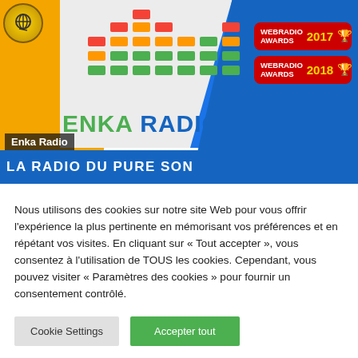[Figure (screenshot): Enka Radio website banner showing logo, equalizer bars graphic, WEBRADIO AWARDS 2017 and 2018 badges, 'ENKA RADIO' text, and 'LA RADIO DU PURE SON' tagline on blue stripe]
Enka Radio
Nous utilisons des cookies sur notre site Web pour vous offrir l'expérience la plus pertinente en mémorisant vos préférences et en répétant vos visites. En cliquant sur « Tout accepter », vous consentez à l'utilisation de TOUS les cookies. Cependant, vous pouvez visiter « Paramètres des cookies » pour fournir un consentement contrôlé.
Cookie Settings
Accepter tout